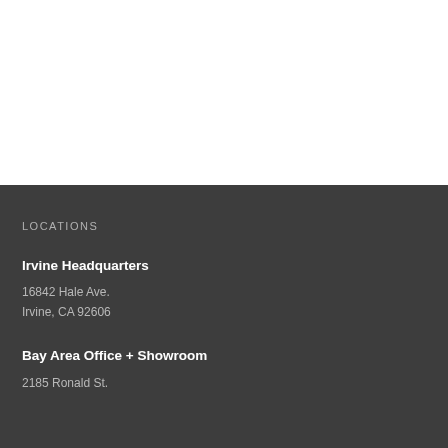LOCATIONS
Irvine Headquarters
16842 Hale Ave.
Irvine, CA 92606
Bay Area Office + Showroom
2185 Ronald St.